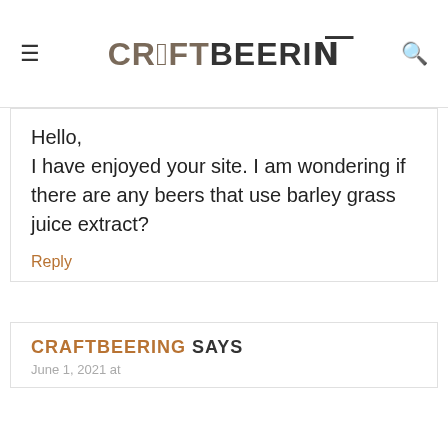CRAFTBEERING
Hello,
I have enjoyed your site. I am wondering if there are any beers that use barley grass juice extract?
Reply
CRAFTBEERING SAYS